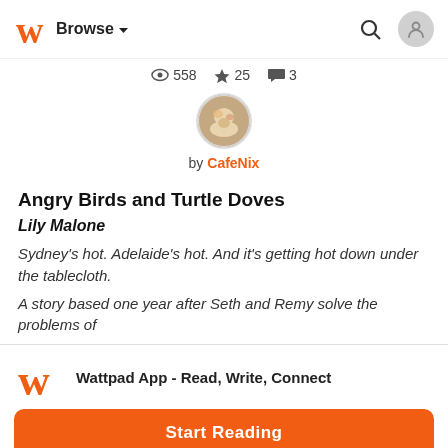Browse (dropdown) | Search | User icon
558 views · 25 stars · 3 comments
[Figure (photo): Circular avatar photo of author CafeNix]
by CafeNix
Angry Birds and Turtle Doves
Lily Malone
Sydney's hot. Adelaide's hot. And it's getting hot down under the tablecloth.
A story based one year after Seth and Remy solve the problems of
Wattpad App - Read, Write, Connect
Start Reading
Log in with Browser